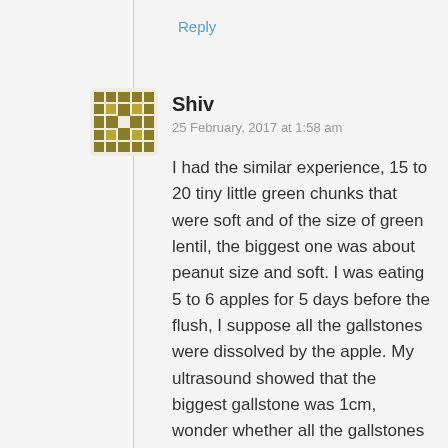Reply
[Figure (illustration): User avatar for Shiv — an olive/dark-yellow pixel art style icon with geometric pattern]
Shiv
25 February, 2017 at 1:58 am
I had the similar experience, 15 to 20 tiny little green chunks that were soft and of the size of green lentil, the biggest one was about peanut size and soft. I was eating 5 to 6 apples for 5 days before the flush, I suppose all the gallstones were dissolved by the apple. My ultrasound showed that the biggest gallstone was 1cm, wonder whether all the gallstones were dissolved by apple. Long live apple(organic apple please!) .